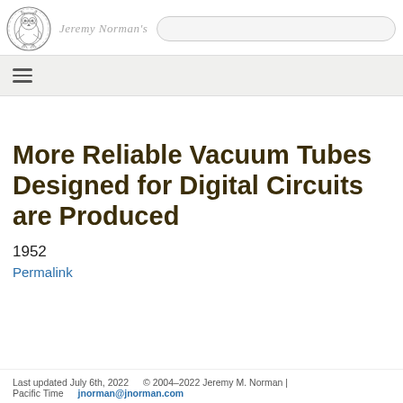Jeremy Norman's
More Reliable Vacuum Tubes Designed for Digital Circuits are Produced
1952
Permalink
Last updated July 6th, 2022    © 2004–2022 Jeremy M. Norman | Pacific Time    jnorman@jnorman.com